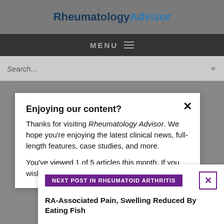Rheumatology Advisor
MENU
Search...
Enjoying our content?
Thanks for visiting Rheumatology Advisor. We hope you're enjoying the latest clinical news, full-length features, case studies, and more.
You've viewed 1 of 5 articles this month. If you wish
NEXT POST IN RHEUMATOID ARTHRITIS
RA-Associated Pain, Swelling Reduced By Eating Fish
LOGIN
REGISTER